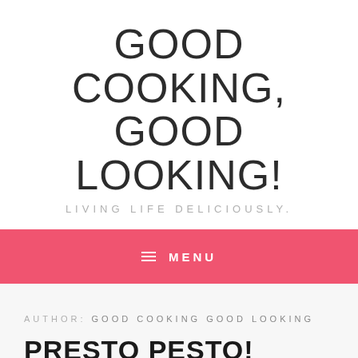GOOD COOKING, GOOD LOOKING!
LIVING LIFE DELICIOUSLY.
≡ MENU
AUTHOR: GOOD COOKING GOOD LOOKING
PRESTO PESTO!
August 30, 2018